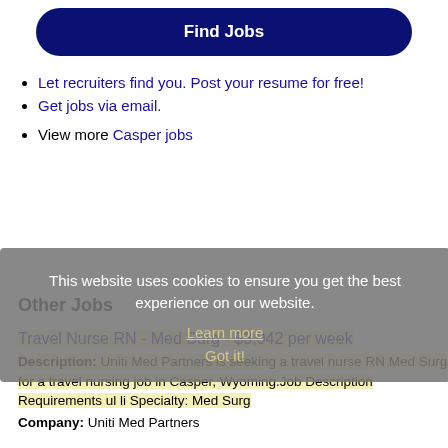Find Jobs
Let recruiters find you. Post your resume for free!
Get jobs via email.
View more Casper jobs
This website uses cookies to ensure you get the best experience on our website.
Learn more
Got it!
Other Jobs
Travel Nurse RN - Med Surg - $3,042 per week
Description: Uniti Med Partners is seeking a travel nurse RN Med Surg for a travel nursing job in Casper, Wyoming.Job Description Requirements ul li Specialty: Med Surg
Company: Uniti Med Partners